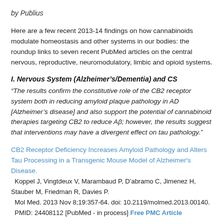by Publius
Here are a few recent 2013-14 findings on how cannabinoids modulate homeostasis and other systems in our bodies: the roundup links to seven recent PubMed articles on the central nervous, reproductive, neuromodulatory, limbic and opioid systems.
I. Nervous System (Alzheimer’s/Dementia) and CS
“The results confirm the constitutive role of the CB2 receptor system both in reducing amyloid plaque pathology in AD [Alzheimer’s disease] and also support the potential of cannabinoid therapies targeting CB2 to reduce Aβ; however, the results suggest that interventions may have a divergent effect on tau pathology.”
CB2 Receptor Deficiency Increases Amyloid Pathology and Alters Tau Processing in a Transgenic Mouse Model of Alzheimer's Disease.
  Koppel J, Vingtdeux V, Marambaud P, D'abramo C, Jimenez H, Stauber M, Friedman R, Davies P.
  Mol Med. 2013 Nov 8;19:357-64. doi: 10.2119/molmed.2013.00140.
  PMID: 24408112 [PubMed - in process] Free PMC Article